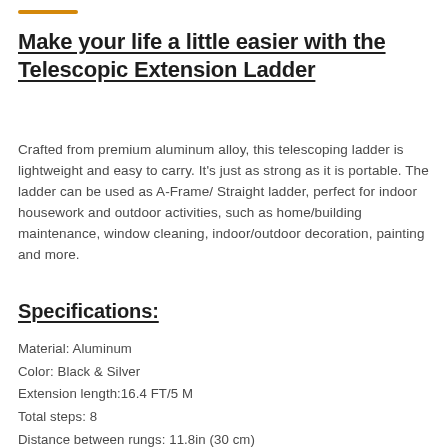Make your life a little easier with the Telescopic Extension Ladder
Crafted from premium aluminum alloy, this telescoping ladder is lightweight and easy to carry. It's just as strong as it is portable. The ladder can be used as A-Frame/ Straight ladder, perfect for indoor housework and outdoor activities, such as home/building maintenance, window cleaning, indoor/outdoor decoration, painting and more.
Specifications:
Material: Aluminum
Color: Black & Silver
Extension length:16.4 FT/5 M
Total steps: 8
Distance between rungs: 11.8in (30 cm)
Weight: 46.3 lbs(21kg)